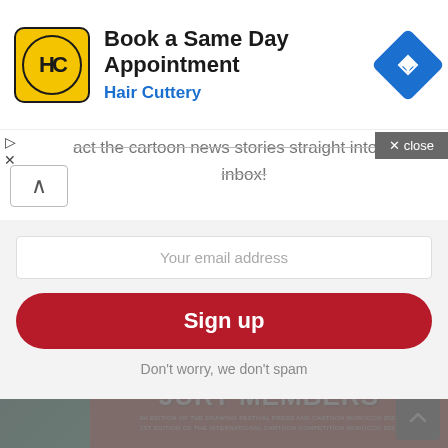[Figure (screenshot): Hair Cuttery advertisement banner with yellow logo, text 'Book a Same Day Appointment' and 'Hair Cuttery', and a blue navigation diamond icon]
act the cartoon news stories straight into your inbox!
Your email address
Sign up
Don't worry, we don't spam
YOU MAY ALSO LIKE
[Figure (screenshot): Bottom image strip showing 'JURY MEMBERS' text with event description '3RD EDITION OF THE DRAWING FESTIVAL PRESS AND CARTOON MOROCCO 2021 / 1ST EDITION OF THE INTERNATIONAL CARTOON COMPETITION MOROCCO 2021']